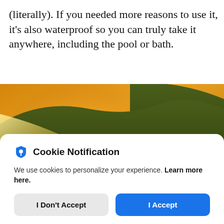(literally). If you needed more reasons to use it, it's also waterproof so you can truly take it anywhere, including the pool or bath.
[Figure (photo): Outdoor golden-hour landscape photo showing hills covered in green vegetation with warm sunlight, and a man's profile visible on the right side.]
Cookie Notification
We use cookies to personalize your experience. Learn more here.
[I Don't Accept] [I Accept]